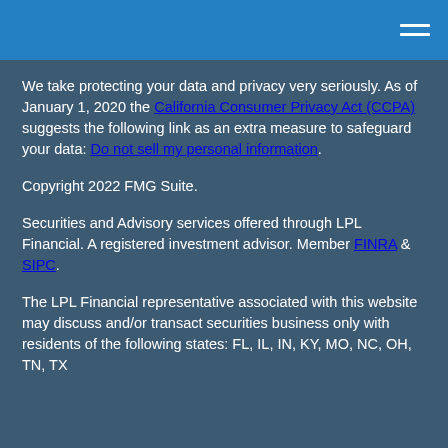We take protecting your data and privacy very seriously. As of January 1, 2020 the California Consumer Privacy Act (CCPA) suggests the following link as an extra measure to safeguard your data: Do not sell my personal information.
Copyright 2022 FMG Suite.
Securities and Advisory services offered through LPL Financial. A registered investment advisor. Member FINRA & SIPC.
The LPL Financial representative associated with this website may discuss and/or transact securities business only with residents of the following states: FL, IL, IN, KY, MO, NC, OH, TN, TX